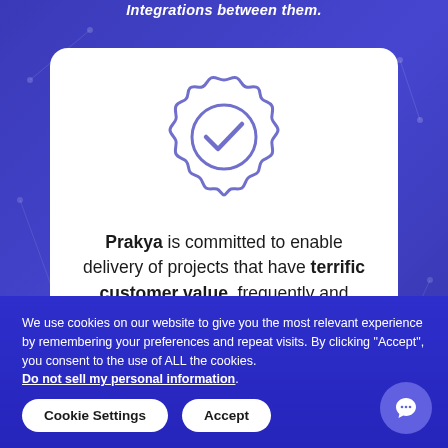Integrations between them.
[Figure (illustration): Purple badge/seal icon with checkmark inside, outline style]
Prakya is committed to enable delivery of projects that have terrific customer value, frequently and flawlessly
We use cookies on our website to give you the most relevant experience by remembering your preferences and repeat visits. By clicking "Accept", you consent to the use of ALL the cookies. Do not sell my personal information.
Cookie Settings
Accept